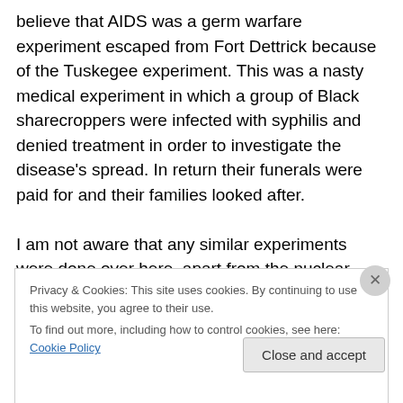believe that AIDS was a germ warfare experiment escaped from Fort Dettrick because of the Tuskegee experiment. This was a nasty medical experiment in which a group of Black sharecroppers were infected with syphilis and denied treatment in order to investigate the disease's spread. In return their funerals were paid for and their families looked after.

I am not aware that any similar experiments were done over here, apart from the nuclear tests on British servicemen, which wasn't, I believe, racial. If such
Privacy & Cookies: This site uses cookies. By continuing to use this website, you agree to their use.
To find out more, including how to control cookies, see here: Cookie Policy
Close and accept